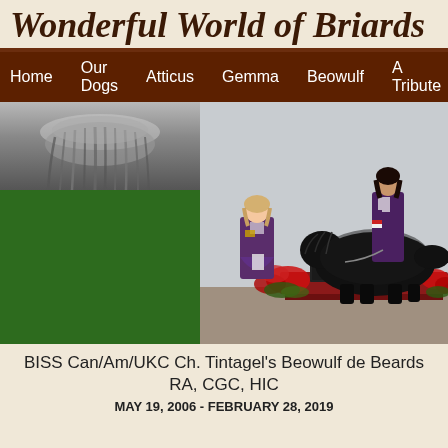Wonderful World of Briards
Home  Our Dogs  Atticus  Gemma  Beowulf  A Tribute
[Figure (photo): Left: close-up black-and-white photo of a Briard dog's head from behind showing long hair. Right: color show photo of two women with a large black Briard dog at a United Kennel Club event, with a sign reading 'Group 4th' and Dean Dennis Photography credit, red poinsettia floral arrangements at the base.]
BISS Can/Am/UKC Ch. Tintagel's Beowulf de Beards RA, CGC, HIC
MAY 19, 2006 - FEBRUARY 28, 2019